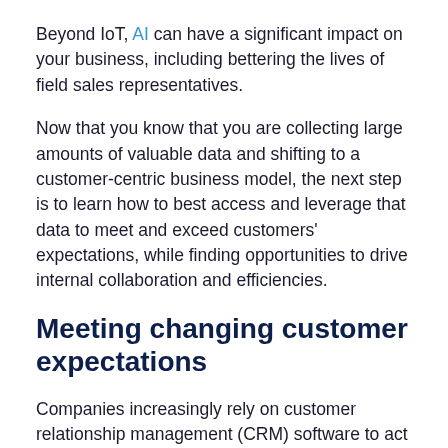Beyond IoT, AI can have a significant impact on your business, including bettering the lives of field sales representatives.
Now that you know that you are collecting large amounts of valuable data and shifting to a customer-centric business model, the next step is to learn how to best access and leverage that data to meet and exceed customers' expectations, while finding opportunities to drive internal collaboration and efficiencies.
Meeting changing customer expectations
Companies increasingly rely on customer relationship management (CRM) software to act as a system of engagement with customers.